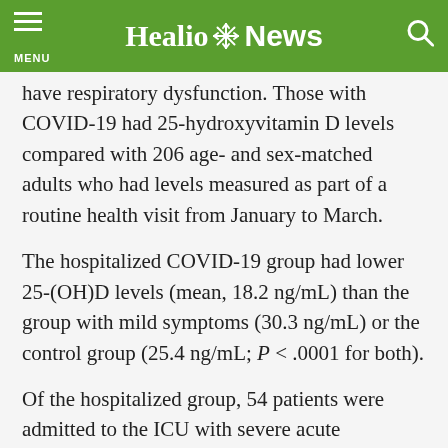Healio News
have respiratory dysfunction. Those with COVID-19 had 25-hydroxyvitamin D levels compared with 206 age- and sex-matched adults who had levels measured as part of a routine health visit from January to March.
The hospitalized COVID-19 group had lower 25-(OH)D levels (mean, 18.2 ng/mL) than the group with mild symptoms (30.3 ng/mL) or the control group (25.4 ng/mL; P < .0001 for both).
Of the hospitalized group, 54 patients were admitted to the ICU with severe acute respiratory distress syndrome. When compared with patients who were hospitalized without ICU admission, those admitted to the ICU had lower 25-(OH)D levels